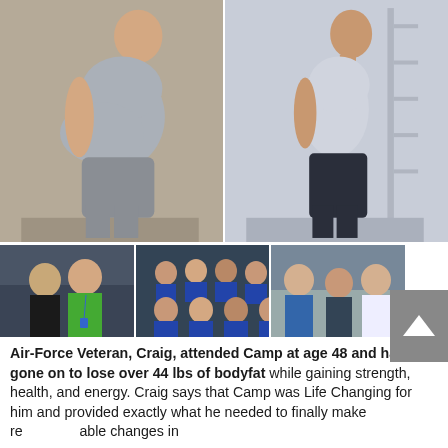[Figure (photo): Before and after side-profile photos of Craig, an Air-Force veteran. Left photo shows a heavier build, right photo shows a slimmer build.]
[Figure (photo): Three small group photos showing Craig with trainers and camp participants wearing blue shirts.]
Air-Force Veteran, Craig, attended Camp at age 48 and has gone on to lose over 44 lbs of bodyfat while gaining strength, health, and energy. Craig says that Camp was Life Changing for him and provided exactly what he needed to finally make real, sustainable changes in